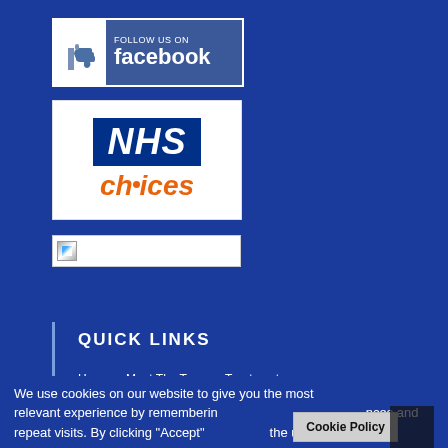[Figure (logo): Follow us on Facebook badge with thumbs up icon and blue background]
[Figure (logo): NHS Choices logo with blue NHS text and orange choices text on white background]
[Figure (photo): Broken image placeholder with small icon]
QUICK LINKS
Home
Meet The Team
Treatments
Fees And Finance
How To Find Us
Contact Us
Data Protection And Privacy Policy
We use cookies on our website to give you the most relevant experience by remembering your preferences and repeat visits. By clicking "Accept"... the use
Cookie Policy